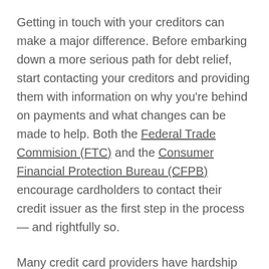Getting in touch with your creditors can make a major difference. Before embarking down a more serious path for debt relief, start contacting your creditors and providing them with information on why you're behind on payments and what changes can be made to help. Both the Federal Trade Commision (FTC) and the Consumer Financial Protection Bureau (CFPB) encourage cardholders to contact their credit issuer as the first step in the process — and rightfully so.
Many credit card providers have hardship programs, and if you think a little breathing room may be just what you need to take control of your debt, you may be able to negotiate temporary